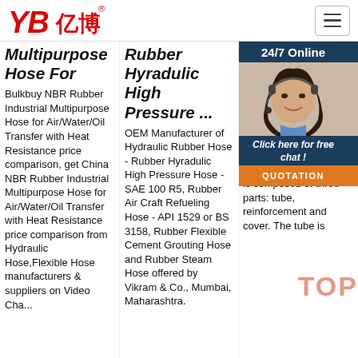[Figure (logo): YB亿博 logo in red with registered trademark symbol]
Multipurpose Hose For
Bulkbuy NBR Rubber Industrial Multipurpose Hose for Air/Water/Oil Transfer with Heat Resistance price comparison, get China NBR Rubber Industrial Multipurpose Hose for Air/Water/Oil Transfer with Heat Resistance price comparison from Hydraulic Hose,Flexible Hose manufacturers & suppliers on Video Channel of Made...
Rubber Hyradulic High Pressure ...
OEM Manufacturer of Hydraulic Rubber Hose - Rubber Hyradulic High Pressure Hose - SAE 100 R5, Rubber Air Craft Refueling Hose - API 1529 or BS 3158, Rubber Flexible Cement Grouting Hose and Rubber Steam Hose offered by Vikram & Co., Mumbai, Maharashtra.
R7 Hydraulic Hose R7 Or...
[Figure (photo): Customer service representative with headset, 24/7 Online chat widget with orange QUOTATION button]
SAE... thermoplastic hydraulic hose suitable for delivering petroleum-based fluids, temperature °C ... non-conductive due to its appropriate materials. It is composed of three parts: tube, reinforcement and cover. The tube is